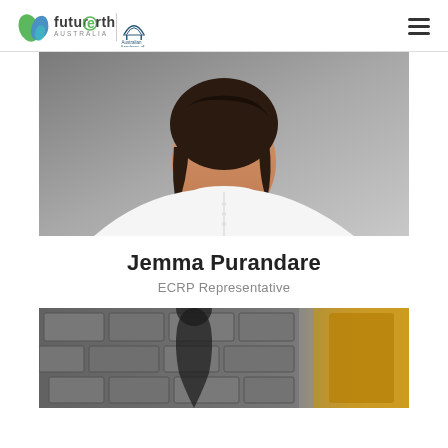Future Earth Australia | Australian Academy of Science
[Figure (photo): Portrait photo of Jemma Purandare, a woman with dark hair wearing a white top, photographed against a grey background]
Jemma Purandare
ECRP Representative
[Figure (photo): Partial photo showing a person against a stone wall background, bottom portion of the page]